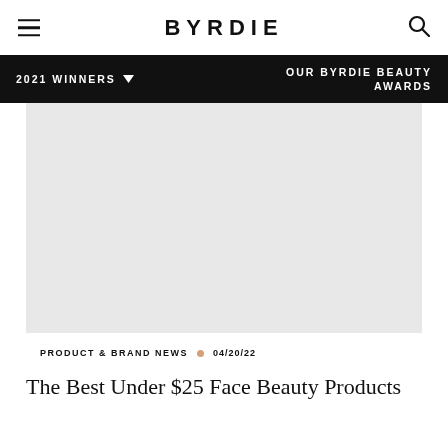BYRDIE
2021 WINNERS ▼    OUR BYRDIE BEAUTY AWARDS
[Figure (photo): Large hero image placeholder with light gray background]
PRODUCT & BRAND NEWS • 04/20/22
The Best Under $25 Face Beauty Products